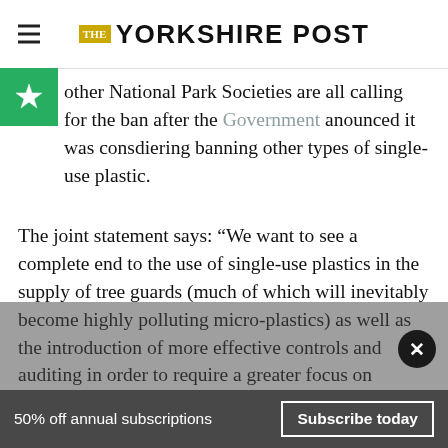THE YORKSHIRE POST
other National Park Societies are all calling for the ban after the Government anounced it was consdiering banning other types of single-use plastic.
The joint statement says: "We want to see a complete end to the use of single-use plastics in the supply of tree guards (much of which will inevitably become highly polluting micro-plastics) as well as the introduction of more effective controls and auditing in order to require a greater focus on recovering old
50% off annual subscriptions  Subscribe today